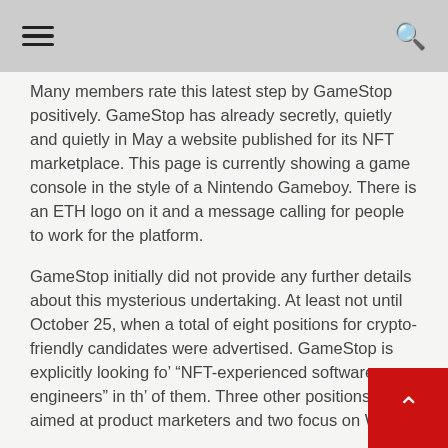≡ [hamburger menu] [search icon]
Many members rate this latest step by GameStop positively. GameStop has already secretly, quietly and quietly in May a website published for its NFT marketplace. This page is currently showing a game console in the style of a Nintendo Gameboy. There is an ETH logo on it and a message calling for people to work for the platform.
GameStop initially did not provide any further details about this mysterious undertaking. At least not until October 25, when a total of eight positions for crypto-friendly candidates were advertised. GameStop is explicitly looking for "NFT-experienced software engineers" in the of them. Three other positions are aimed at product marketers and two focus on Web3-